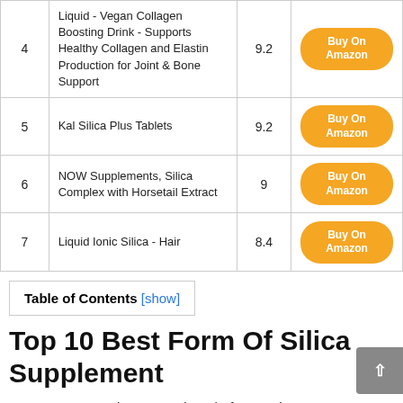| # | Product | Score | Link |
| --- | --- | --- | --- |
| 4 | Liquid - Vegan Collagen Boosting Drink - Supports Healthy Collagen and Elastin Production for Joint & Bone Support | 9.2 | Buy On Amazon |
| 5 | Kal Silica Plus Tablets | 9.2 | Buy On Amazon |
| 6 | NOW Supplements, Silica Complex with Horsetail Extract | 9 | Buy On Amazon |
| 7 | Liquid Ionic Silica - Hair | 8.4 | Buy On Amazon |
Table of Contents [show]
Top 10 Best Form Of Silica Supplement
Our team scanned 43760 reviews before putting any suggestions for the Form Of Silica Supplement in this article.